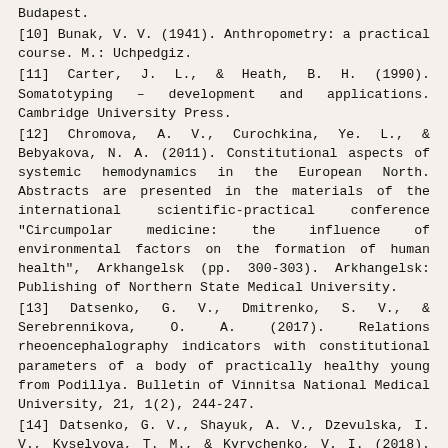Budapest.
[10] Bunak, V. V. (1941). Anthropometry: a practical course. M.: Uchpedgiz.
[11] Carter, J. L., & Heath, B. H. (1990). Somatotyping – development and applications. Cambridge University Press.
[12] Chromova, A. V., Curochkina, Ye. L., & Bebyakova, N. A. (2011). Constitutional aspects of systemic hemodynamics in the European North. Abstracts are presented in the materials of the international scientific-practical conference "Circumpolar medicine: the influence of environmental factors on the formation of human health", Arkhangelsk (pp. 300-303). Arkhangelsk: Publishing of Northern State Medical University.
[13] Datsenko, G. V., Dmitrenko, S. V., & Serebrennikova, O. A. (2017). Relations rheoencephalography indicators with constitutional parameters of a body of practically healthy young from Podillya. Bulletin of Vinnitsa National Medical University, 21, 1(2), 244-247.
[14] Datsenko, G. V., Shayuk, A. V., Dzevulska, I. V., Kyselyova, T. M., & Kyrychenko, V. I. (2018). Features of correlations of cerebral circulation indicators with anthropo-somatotypological parameters of the body in practically